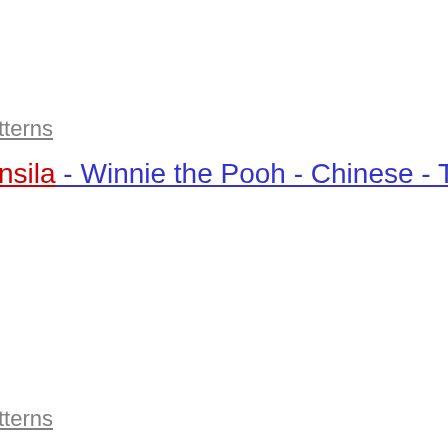tterns
nsila - Winnie the Pooh - Chinese - Translated - Free
tterns